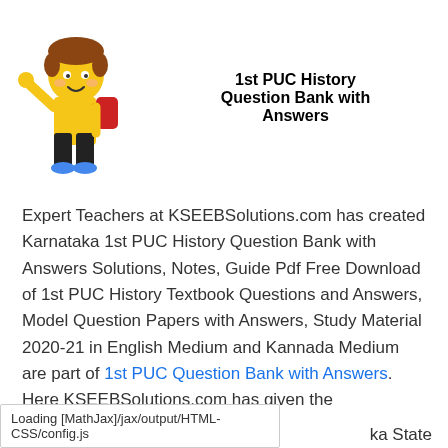[Figure (illustration): Cartoon mascot of a boy with brown hair wearing a yellow shirt, black pants, and blue shoes, waving one hand, carrying a red backpack]
1st PUC History Question Bank with Answers
Expert Teachers at KSEEBSolutions.com has created Karnataka 1st PUC History Question Bank with Answers Solutions, Notes, Guide Pdf Free Download of 1st PUC History Textbook Questions and Answers, Model Question Papers with Answers, Study Material 2020-21 in English Medium and Kannada Medium are part of 1st PUC Question Bank with Answers. Here KSEEBSolutions.com has given the Department of
Loading [MathJax]/jax/output/HTML-CSS/config.js
ka State